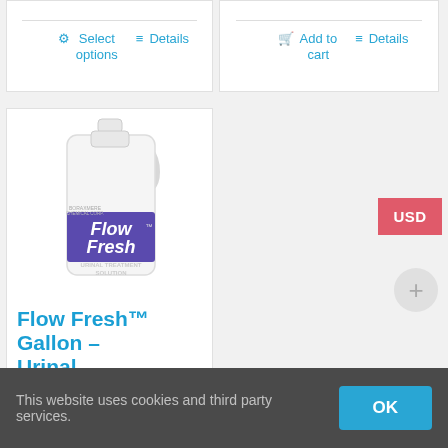⚙ Select options   ≡ Details
🛒 Add to cart   ≡ Details
[Figure (photo): A white gallon jug of Flow Fresh Urinal Treatment Solution with a purple label]
Flow Fresh™ Gallon – Urinal
This website uses cookies and third party services.
OK